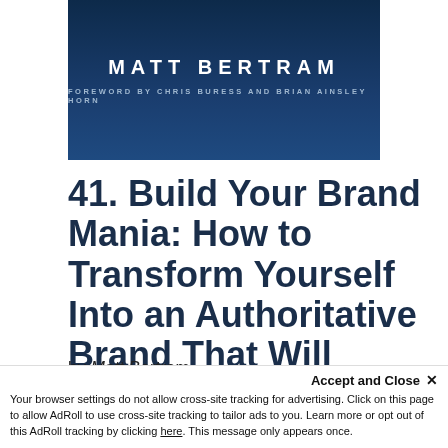[Figure (illustration): Book cover with dark navy blue background showing 'MATT BERTRAM' in bold white letters and 'FOREWORD BY CHRIS BURESS AND BRIAN AINSLEY HORN' in smaller spaced letters below]
41. Build Your Brand Mania: How to Transform Yourself Into an Authoritative Brand That Will Attract Your Ideal Customers
by Matt Bertram
Our Rating: 4.60/5
Get a Copy
Accept and Close ✕
Your browser settings do not allow cross-site tracking for advertising. Click on this page to allow AdRoll to use cross-site tracking to tailor ads to you. Learn more or opt out of this AdRoll tracking by clicking here. This message only appears once.